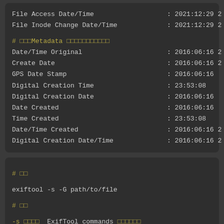File Access Date/Time                    : 2021:12:29 2
File Inode Change Date/Time              : 2021:12:29 2
# □□□Metadata □□□□□□□□□□□
Date/Time Original                       : 2016:06:16 2
Create Date                              : 2016:06:16 2
GPS Date Stamp                           : 2016:06:16
Digital Creation Time                    : 23:53:08
Digital Creation Date                    : 2016:06:16
Date Created                             : 2016:06:16
Time Created                             : 23:53:08
Date/Time Created                        : 2016:06:16 2
Digital Creation Date/Time               : 2016:06:16 2
# □□
exiftool -s -G path/to/file
# □□
-s □□□□  ExifTool commands □□□□□□